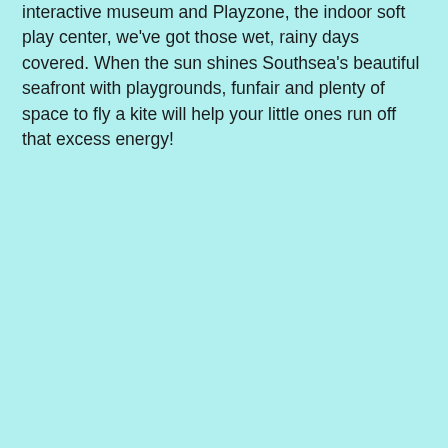interactive museum and Playzone, the indoor soft play center, we've got those wet, rainy days covered. When the sun shines Southsea's beautiful seafront with playgrounds, funfair and plenty of space to fly a kite will help your little ones run off that excess energy!